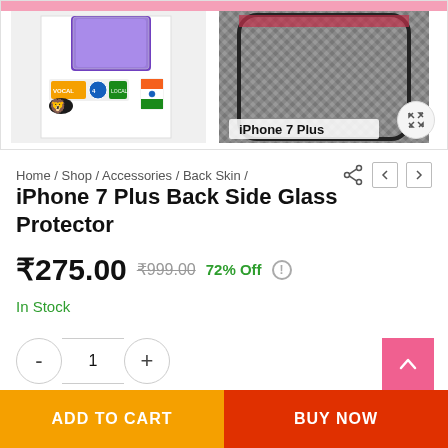[Figure (photo): Product image area showing iPhone 7 Plus Back Side Glass Protector packaging on the left and a carbon fiber back skin applied on an iPhone 7 Plus on the right. Label 'iPhone 7 Plus' visible below right image.]
Home / Shop / Accessories / Back Skin /
iPhone 7 Plus Back Side Glass Protector
₹275.00  ₹999.00  72% Off  !
In Stock
- 1 +
ADD TO CART
BUY NOW